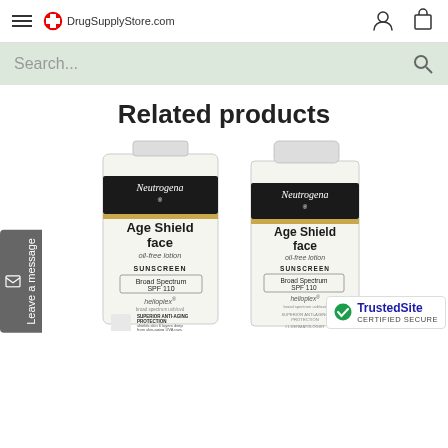DrugSupplyStore.com
Search...
Related products
[Figure (photo): Two Neutrogena Age Shield Face oil-free lotion Sunscreen Broad Spectrum SPF 110 with Helioplex products. Left is a tall flat bottle, right is a squeeze tube. Both show Superior Anti-Aging Protection text and Dermatologist Recommended Suncare.]
TrustedSite CERTIFIED SECURE